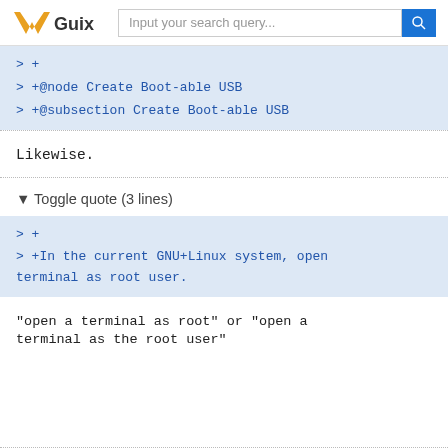Guix — Input your search query...
> +
> +@node Create Boot-able USB
> +@subsection Create Boot-able USB
Likewise.
▼ Toggle quote (3 lines)
> +
> +In the current GNU+Linux system, open terminal as root user.
"open a terminal as root" or "open a terminal as the root user"